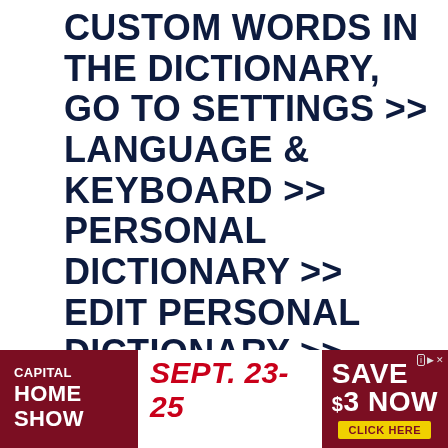CUSTOM WORDS IN THE DICTIONARY, GO TO SETTINGS >> LANGUAGE & KEYBOARD >> PERSONAL DICTIONARY >> EDIT PERSONAL DICTIONARY >> PRESS '+' >> ENTER REQUIRED WORD >> OK. THIS WILL ADD
[Figure (infographic): Advertisement banner for Capital Home Show, Sept. 23-25 at Dulles Expo Center, with Save $3 Now and Click Here button.]